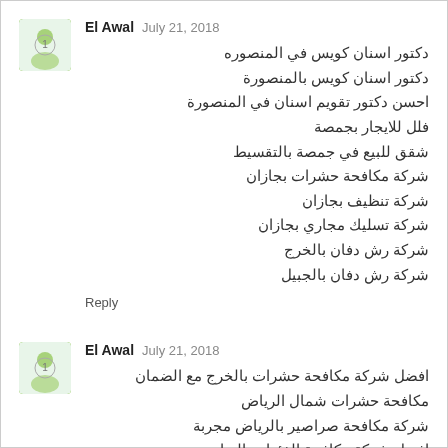El Awal  July 21, 2018
دكتور اسنان كويس في المنصوره
دكتور اسنان كويس بالمنصورة
احسن دكتور تقويم اسنان في المنصورة
فلل للايجار بجمصة
شقق للبيع في جمصة بالتقسيط
شركة مكافحة حشرات بجازان
شركة تنظيف بجازان
شركة تسليك مجاري بجازان
شركة رش دفان بالخرج
شركة رش دفان بالجبيل
Reply
El Awal  July 21, 2018
افضل شركة مكافحة حشرات بالخرج مع الضمان
مكافحة حشرات شمال الرياض
شركة مكافحة صراصير بالرياض مجربة
افضل شركة مكافحة الفئران بالرياض
شركه نظافة عامة بالرياض
شركة نقل اثاث بالرياض
شركة نقل اثاث بالمدينة المنورة